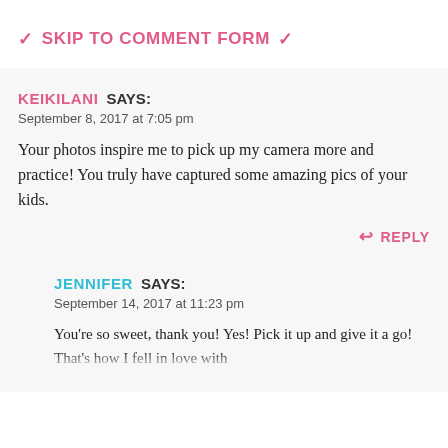❯ SKIP TO COMMENT FORM ❯
KEIKILANI SAYS:
September 8, 2017 at 7:05 pm

Your photos inspire me to pick up my camera more and practice! You truly have captured some amazing pics of your kids.

↩ REPLY
JENNIFER SAYS:
September 14, 2017 at 11:23 pm

You're so sweet, thank you! Yes! Pick it up and give it a go! That's how I fell in love with